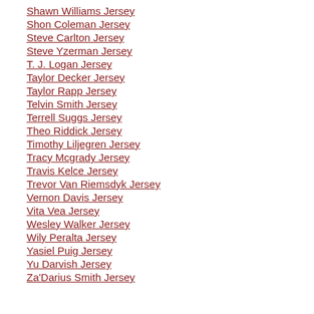Shawn Williams Jersey
Shon Coleman Jersey
Steve Carlton Jersey
Steve Yzerman Jersey
T. J. Logan Jersey
Taylor Decker Jersey
Taylor Rapp Jersey
Telvin Smith Jersey
Terrell Suggs Jersey
Theo Riddick Jersey
Timothy Liljegren Jersey
Tracy Mcgrady Jersey
Travis Kelce Jersey
Trevor Van Riemsdyk Jersey
Vernon Davis Jersey
Vita Vea Jersey
Wesley Walker Jersey
Wily Peralta Jersey
Yasiel Puig Jersey
Yu Darvish Jersey
Za'Darius Smith Jersey